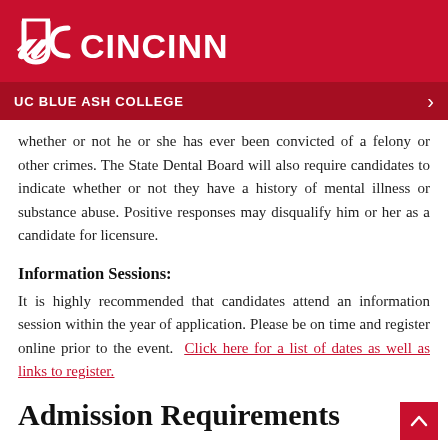UC CINCINNATI
UC BLUE ASH COLLEGE
whether or not he or she has ever been convicted of a felony or other crimes. The State Dental Board will also require candidates to indicate whether or not they have a history of mental illness or substance abuse. Positive responses may disqualify him or her as a candidate for licensure.
Information Sessions:
It is highly recommended that candidates attend an information session within the year of application. Please be on time and register online prior to the event.  Click here for a list of dates as well as links to register.
Admission Requirements